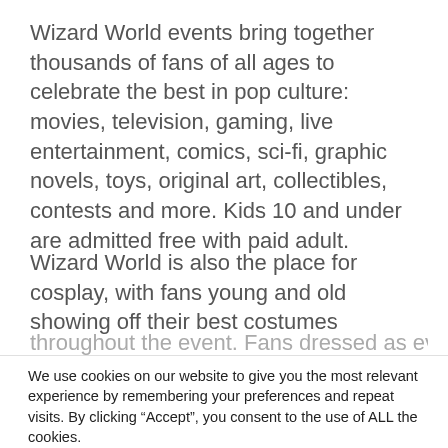Wizard World events bring together thousands of fans of all ages to celebrate the best in pop culture: movies, television, gaming, live entertainment, comics, sci-fi, graphic novels, toys, original art, collectibles, contests and more. Kids 10 and under are admitted free with paid adult.
Wizard World is also the place for cosplay, with fans young and old showing off their best costumes throughout the event. Fans dressed as every imaginable
We use cookies on our website to give you the most relevant experience by remembering your preferences and repeat visits. By clicking “Accept”, you consent to the use of ALL the cookies.
Do not sell my personal information.